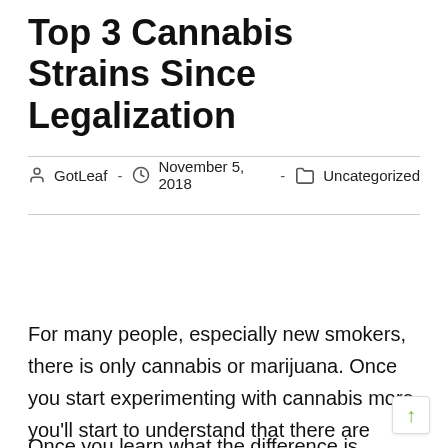Top 3 Cannabis Strains Since Legalization
GotLeaf  -  November 5, 2018  -  Uncategorized
For many people, especially new smokers, there is only cannabis or marijuana. Once you start experimenting with cannabis more, you'll start to understand that there are three different strains of cannabis and each of them offers different benefits and effects.
Once you learn what the difference is between